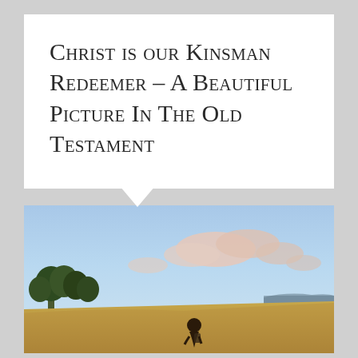Christ is our Kinsman Redeemer – A Beautiful Picture In The Old Testament
[Figure (photo): A person standing in a golden field under a blue sky with pink-tinted clouds and trees in the background]